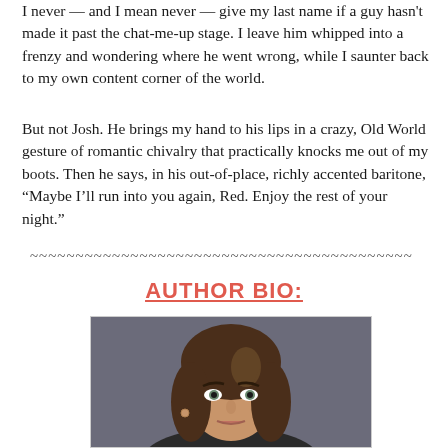I never — and I mean never — give my last name if a guy hasn't made it past the chat-me-up stage. I leave him whipped into a frenzy and wondering where he went wrong, while I saunter back to my own content corner of the world.
But not Josh. He brings my hand to his lips in a crazy, Old World gesture of romantic chivalry that practically knocks me out of my boots. Then he says, in his out-of-place, richly accented baritone, “Maybe I’ll run into you again, Red. Enjoy the rest of your night.”
~~~~~~~~~~~~~~~~~~~~~~~~~~~~~~~~~~~~~~~~~~
AUTHOR BIO:
[Figure (photo): Author headshot photo of a woman with long dark brown hair, looking directly at camera, photographed against a dark grey background.]